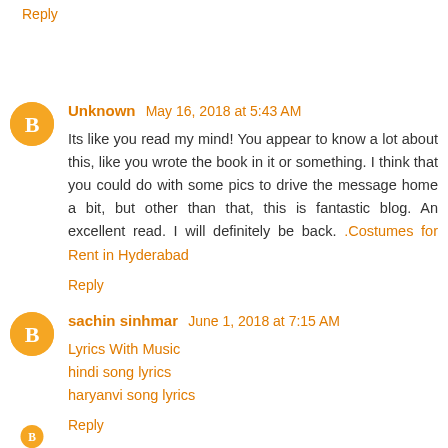Reply
Unknown May 16, 2018 at 5:43 AM
Its like you read my mind! You appear to know a lot about this, like you wrote the book in it or something. I think that you could do with some pics to drive the message home a bit, but other than that, this is fantastic blog. An excellent read. I will definitely be back. .Costumes for Rent in Hyderabad
Reply
sachin sinhmar June 1, 2018 at 7:15 AM
Lyrics With Music
hindi song lyrics
haryanvi song lyrics
Reply